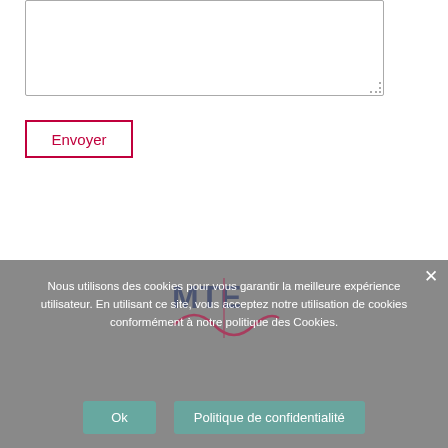[Figure (screenshot): A textarea input box with a dashed resize handle in the bottom-right corner]
Envoyer
Nous utilisons des cookies pour vous garantir la meilleure expérience utilisateur. En utilisant ce site, vous acceptez notre utilisation de cookies conformément à notre politique des Cookies.
[Figure (logo): MTE logo with stylized sine wave graphic, dark blue text with red accent]
Ok
Politique de confidentialité